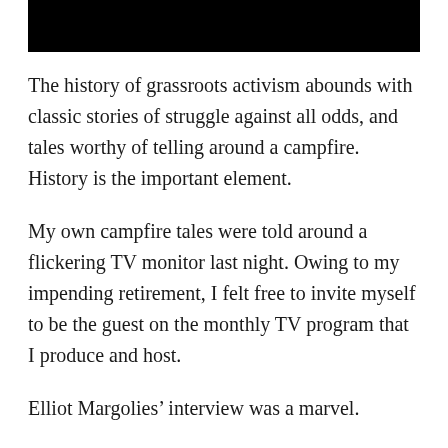[Figure (other): Black rectangular banner/header bar at the top of the page]
The history of grassroots activism abounds with classic stories of struggle against all odds, and tales worthy of telling around a campfire. History is the important element.
My own campfire tales were told around a flickering TV monitor last night. Owing to my impending retirement, I felt free to invite myself to be the guest on the monthly TV program that I produce and host.
Elliot Margolies’ interview was a marvel.
My goal for this blog is to tell more of these stories. Old